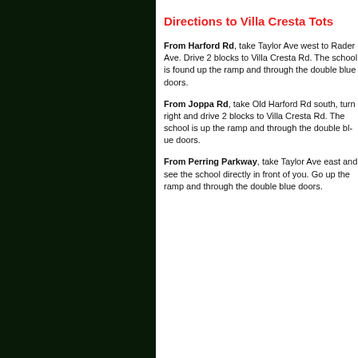Directions to Villa Cresta Tots
From Harford Rd, take Taylor Ave west to Rader Ave. Drive 2 blocks to Villa Cresta Rd. The school is found up the ramp and through the double blue doors.
From Joppa Rd, take Old Harford Rd south, turn right and drive 2 blocks to Villa Cresta Rd. The school is up the ramp and through the double blue doors.
From Perring Parkway, take Taylor Ave east and see the school directly in front of you. Go up the ramp and through the double blue doors.